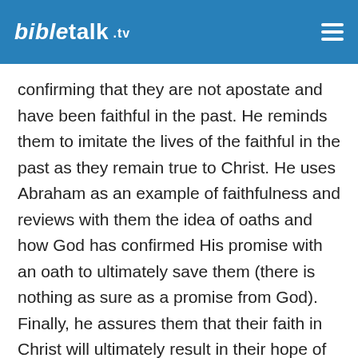BibleTalk.TV
confirming that they are not apostate and have been faithful in the past. He reminds them to imitate the lives of the faithful in the past as they remain true to Christ. He uses Abraham as an example of faithfulness and reviews with them the idea of oaths and how God has confirmed His promise with an oath to ultimately save them (there is nothing as sure as a promise from God). Finally, he assures them that their faith in Christ will ultimately result in their hope of salvation being realized, and explains why this is so (their high priest is already in heaven as a forerunner preparing a place for them).